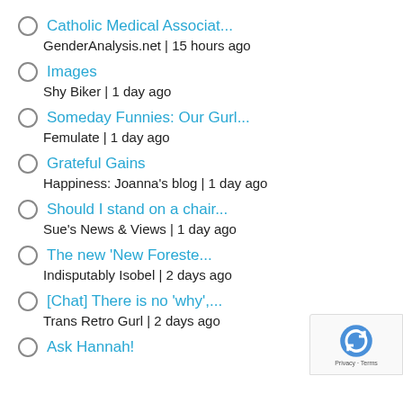Catholic Medical Associat... — GenderAnalysis.net | 15 hours ago
Images — Shy Biker | 1 day ago
Someday Funnies: Our Gurl... — Femulate | 1 day ago
Grateful Gains — Happiness: Joanna's blog | 1 day ago
Should I stand on a chair... — Sue's News & Views | 1 day ago
The new 'New Foreste... — Indisputably Isobel | 2 days ago
[Chat] There is no 'why',... — Trans Retro Gurl | 2 days ago
Ask Hannah!